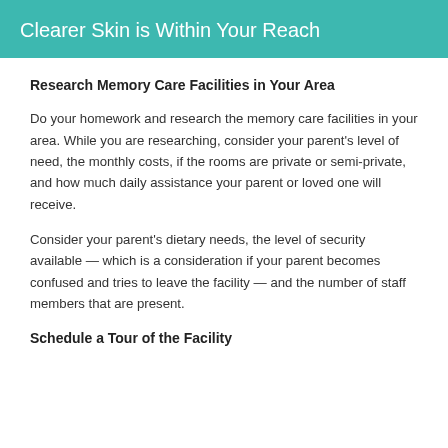Clearer Skin is Within Your Reach
Research Memory Care Facilities in Your Area
Do your homework and research the memory care facilities in your area. While you are researching, consider your parent's level of need, the monthly costs, if the rooms are private or semi-private, and how much daily assistance your parent or loved one will receive.
Consider your parent's dietary needs, the level of security available — which is a consideration if your parent becomes confused and tries to leave the facility — and the number of staff members that are present.
Schedule a Tour of the Facility